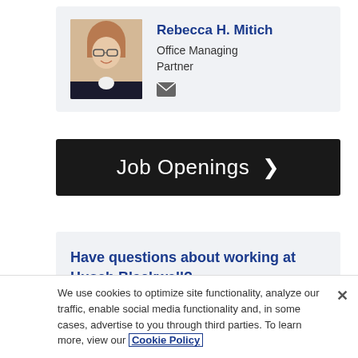[Figure (photo): Profile photo of Rebecca H. Mitich, a woman with shoulder-length reddish-brown hair and glasses, wearing a dark blazer, smiling]
Rebecca H. Mitich
Office Managing Partner
[email icon]
Job Openings ❯
Have questions about working at Husch Blackwell?
We use cookies to optimize site functionality, analyze our traffic, enable social media functionality and, in some cases, advertise to you through third parties. To learn more, view our Cookie Policy